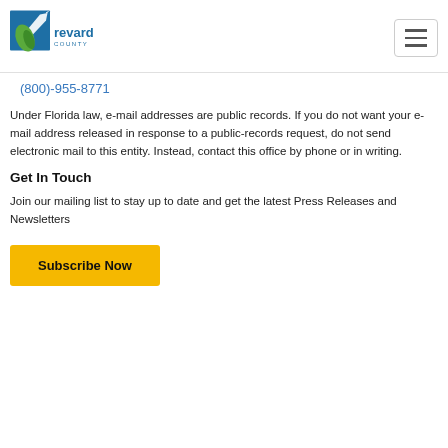Brevard County
(800)-955-8771
Under Florida law, e-mail addresses are public records. If you do not want your e-mail address released in response to a public-records request, do not send electronic mail to this entity. Instead, contact this office by phone or in writing.
Get In Touch
Join our mailing list to stay up to date and get the latest Press Releases and Newsletters
Subscribe Now